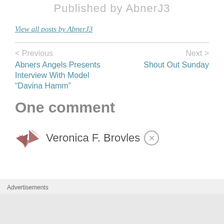Published by AbnerJ3
View all posts by AbnerJ3
< Previous
Abners Angels Presents Interview With Model “Davina Hamm”
Next >
Shout Out Sunday
One comment
[Figure (illustration): User avatar icon with colored triangular/arrow shapes in mauve and brown]
Veronica F. Brovles
Advertisements